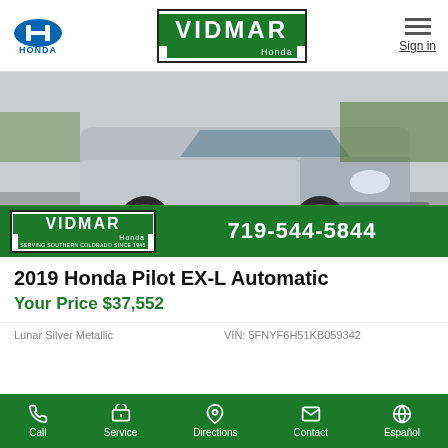[Figure (logo): Honda logo — blue H emblem with HONDA text below]
[Figure (logo): Vidmar Honda dealership logo — green rectangle with VIDMAR text and Honda subtitle, black border]
Sign in
[Figure (photo): Silver Honda Pilot SUV photographed from front-left angle in a parking lot. Vidmar Honda banner overlay at bottom with phone number 719-544-5844 and text SERVING SOUTHERN COLORADO SINCE 1945.]
2019 Honda Pilot EX-L Automatic
Your Price $37,552
Lunar Silver Metallic
VIN: 5FNYF6H51KB059342
Call  Service  Directions  Contact  Español